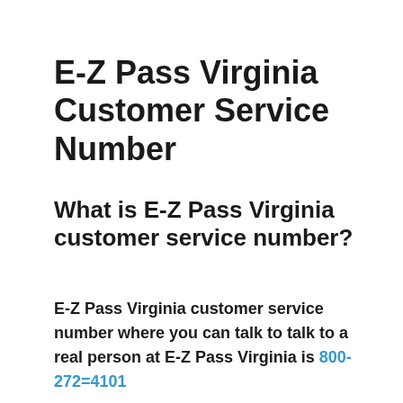E-Z Pass Virginia Customer Service Number
What is E-Z Pass Virginia customer service number?
E-Z Pass Virginia customer service number where you can talk to talk to a real person at E-Z Pass Virginia is 800-272=4101